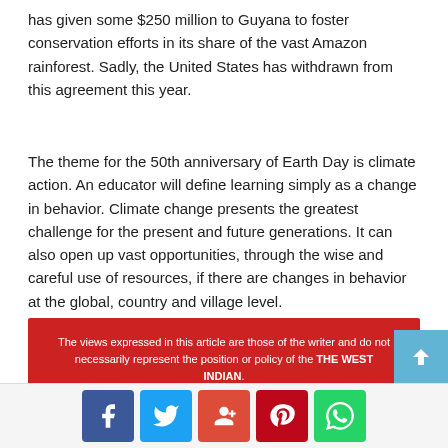has given some $250 million to Guyana to foster conservation efforts in its share of the vast Amazon rainforest. Sadly, the United States has withdrawn from this agreement this year.
The theme for the 50th anniversary of Earth Day is climate action. An educator will define learning simply as a change in behavior. Climate change presents the greatest challenge for the present and future generations. It can also open up vast opportunities, through the wise and careful use of resources, if there are changes in behavior at the global, country and village level.
The views expressed in this article are those of the writer and do not necessarily represent the position or policy of the THE WEST INDIAN.
[Figure (infographic): Social share buttons for Facebook, Twitter, Google+, Pinterest, and WhatsApp, plus a scroll-to-top button]